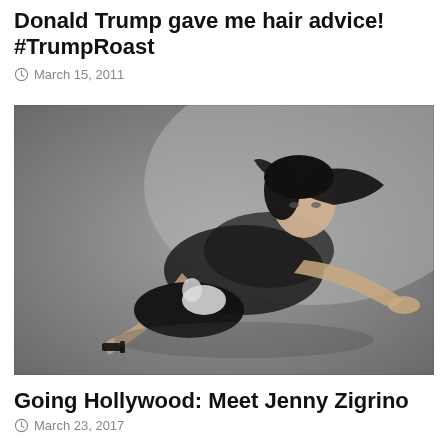Donald Trump gave me hair advice! #TrumpRoast
March 15, 2011
[Figure (photo): Black and white photo of a woman with dark hair wearing a black lace outfit, posed on the floor with a cat nearby]
Going Hollywood: Meet Jenny Zigrino
March 23, 2017